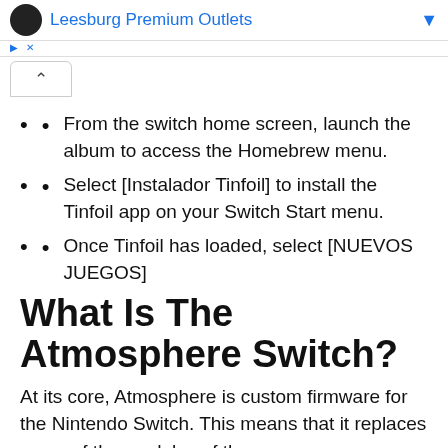Leesburg Premium Outlets
From the switch home screen, launch the album to access the Homebrew menu.
Select [Instalador Tinfoil] to install the Tinfoil app on your Switch Start menu.
Once Tinfoil has loaded, select [NUEVOS JUEGOS]
What Is The Atmosphere Switch?
At its core, Atmosphere is custom firmware for the Nintendo Switch. This means that it replaces some of the modules of the